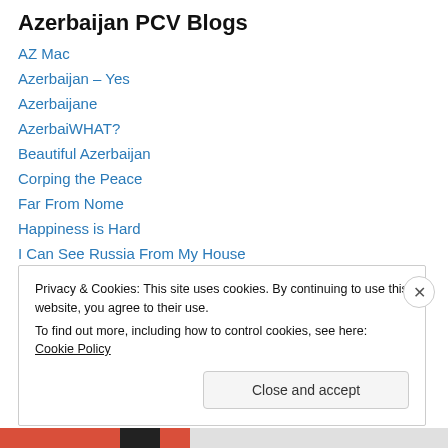Azerbaijan PCV Blogs
AZ Mac
Azerbaijan – Yes
Azerbaijane
AzerbaiWHAT?
Beautiful Azerbaijan
Corping the Peace
Far From Nome
Happiness is Hard
I Can See Russia From My House
Inspired to Retire
Life Called.
Moses Roth
Privacy & Cookies: This site uses cookies. By continuing to use this website, you agree to their use.
To find out more, including how to control cookies, see here: Cookie Policy
Close and accept